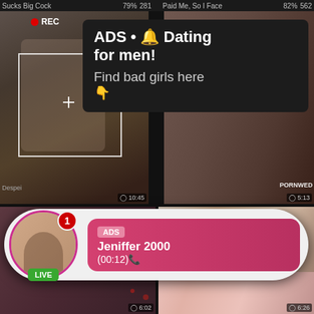Sucks Big Cock  79%  281    Paid Me, So I Face  82%  562
[Figure (screenshot): Video thumbnail with REC indicator, woman taking selfie in mirror]
[Figure (infographic): Ad overlay: ADS • Dating for men! Find bad girls here]
[Figure (screenshot): Right video thumbnail, partial view]
[Figure (infographic): Notification popup: profile photo with LIVE badge, ADS label, Jeniffer 2000 (00:12)]
Compilation Casting
381
[Figure (screenshot): Lower left video thumbnail - Gorgeous Lesbian Trio Marley Brinx]
602
[Figure (screenshot): Lower right video thumbnail - Slutry Short Hair Angel Coco De]
626
Gorgeous Lesbian Trio Marley Brinx  78%  164    Slutry Short Hair Angel Coco De  74%  208